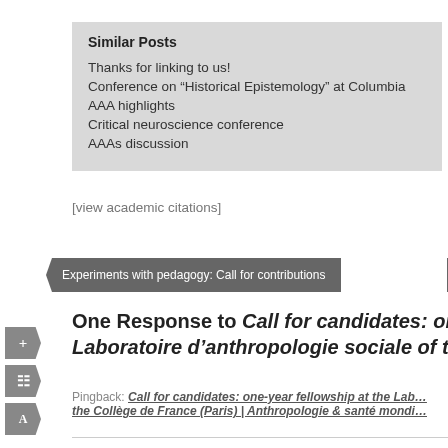Similar Posts
Thanks for linking to us!
Conference on “Historical Epistemology” at Columbia
AAA highlights
Critical neuroscience conference
AAAs discussion
[view academic citations]
Experiments with pedagogy: Call for contributions
Git
One Response to Call for candidates: on… Laboratoire d’anthropologie sociale of th…
Pingback: Call for candidates: one-year fellowship at the Lab… the Collège de France (Paris) | Anthropologie & santé mondi…